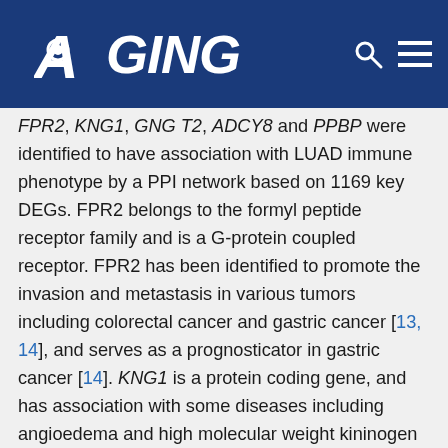AGING
FPR2, KNG1, GNG T2, ADCY8 and PPBP were identified to have association with LUAD immune phenotype by a PPI network based on 1169 key DEGs. FPR2 belongs to the formyl peptide receptor family and is a G-protein coupled receptor. FPR2 has been identified to promote the invasion and metastasis in various tumors including colorectal cancer and gastric cancer [13, 14], and serves as a prognosticator in gastric cancer [14]. KNG1 is a protein coding gene, and has association with some diseases including angioedema and high molecular weight kininogen deficiency. GNGT2 belongs to the G protein gamma family and is thought to play a vital role in cone phototransduction. A recent study showed that GNGT2 was closely associated with the survival of esophageal cancer, and serve as a potentially prognostic marker of patients with esophageal cancer [15]. ADCY8 is an